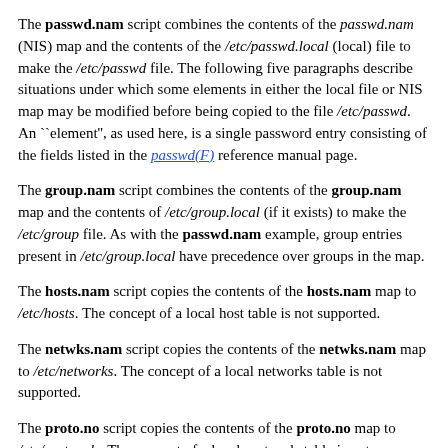The passwd.nam script combines the contents of the passwd.nam (NIS) map and the contents of the /etc/passwd.local (local) file to make the /etc/passwd file. The following five paragraphs describe situations under which some elements in either the local file or NIS map may be modified before being copied to the file /etc/passwd. An ``element'', as used here, is a single password entry consisting of the fields listed in the passwd(F) reference manual page.
The group.nam script combines the contents of the group.nam map and the contents of /etc/group.local (if it exists) to make the /etc/group file. As with the passwd.nam example, group entries present in /etc/group.local have precedence over groups in the map.
The hosts.nam script copies the contents of the hosts.nam map to /etc/hosts. The concept of a local host table is not supported.
The netwks.nam script copies the contents of the netwks.nam map to /etc/networks. The concept of a local networks table is not supported.
The proto.no script copies the contents of the proto.no map to /etc/protocols. The concept of a local protocols table is not supported.